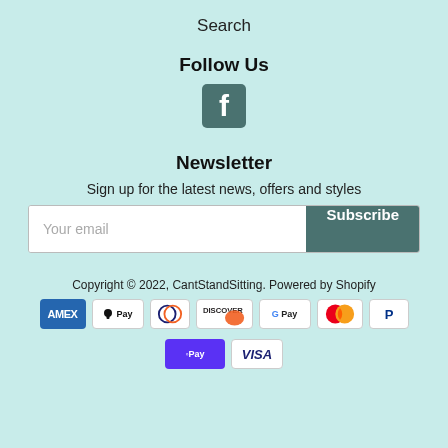Search
Follow Us
[Figure (logo): Facebook icon — teal square with white 'f' logo]
Newsletter
Sign up for the latest news, offers and styles
Your email | Subscribe
Copyright © 2022, CantStandSitting. Powered by Shopify
[Figure (logo): Payment method logos: AMEX, Apple Pay, Diners Club, Discover, Google Pay, Mastercard, PayPal, Shop Pay, Visa]